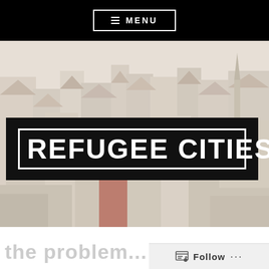☰ MENU
[Figure (photo): Aerial/rooftop view of a European city with historic buildings, rooftops in muted tones]
REFUGEE CITIES
the problem...
Follow ...